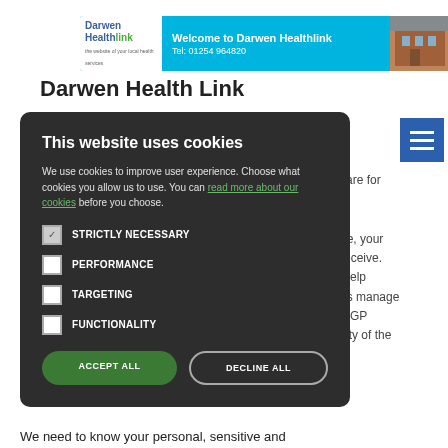[Figure (screenshot): Darwen Healthlink website header banner with logo, welcome text, phone number, and building photo]
Darwen Health Link
[Figure (screenshot): Cookie consent modal overlay on Darwen Healthlink website with options: Strictly Necessary (checked), Performance, Targeting, Functionality, plus Accept All and Decline All buttons]
We need to know your personal, sensitive and